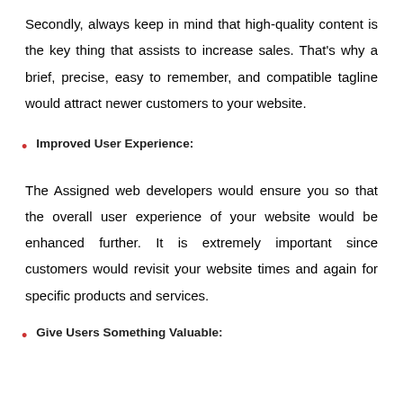Secondly, always keep in mind that high-quality content is the key thing that assists to increase sales. That's why a brief, precise, easy to remember, and compatible tagline would attract newer customers to your website.
Improved User Experience:
The Assigned web developers would ensure you so that the overall user experience of your website would be enhanced further. It is extremely important since customers would revisit your website times and again for specific products and services.
Give Users Something Valuable: